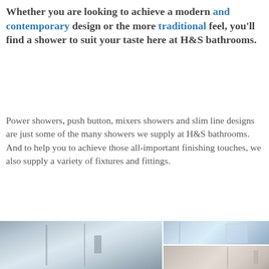Whether you are looking to achieve a modern and contemporary design or the more traditional feel, you'll find a shower to suit your taste here at H&S bathrooms.
Power showers, push button, mixers showers and slim line designs are just some of the many showers we supply at H&S bathrooms. And to help you to achieve those all-important finishing touches, we also supply a variety of fixtures and fittings.
[Figure (photo): Left: large photo of a framed shower enclosure with glass door. Top right: photo of a curved/quadrant shower enclosure. Bottom right: photo of a walk-in shower with overhead rain head.]